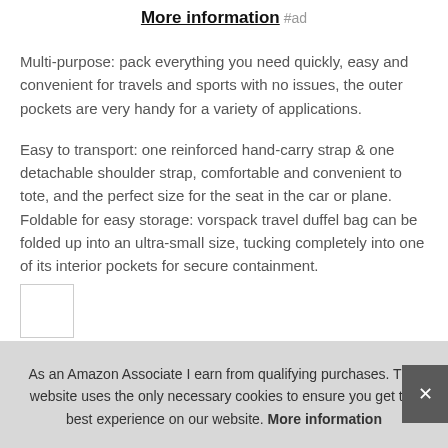More information #ad
Multi-purpose: pack everything you need quickly, easy and convenient for travels and sports with no issues, the outer pockets are very handy for a variety of applications.
Easy to transport: one reinforced hand-carry strap & one detachable shoulder strap, comfortable and convenient to tote, and the perfect size for the seat in the car or plane. Foldable for easy storage: vorspack travel duffel bag can be folded up into an ultra-small size, tucking completely into one of its interior pockets for secure containment.
As an Amazon Associate I earn from qualifying purchases. This website uses the only necessary cookies to ensure you get the best experience on our website. More information